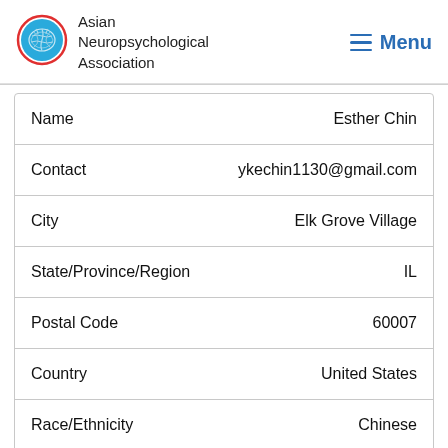[Figure (logo): Asian Neuropsychological Association logo: blue brain in red circle, with organization name text]
| Field | Value |
| --- | --- |
| Name | Esther Chin |
| Contact | ykechin1130@gmail.com |
| City | Elk Grove Village |
| State/Province/Region | IL |
| Postal Code | 60007 |
| Country | United States |
| Race/Ethnicity | Chinese |
| Language(s) | English, Cantonese |